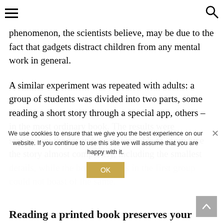[hamburger menu] [search icon]
phenomenon, the scientists believe, may be due to the fact that gadgets distract children from any mental work in general.
A similar experiment was repeated with adults: a group of students was divided into two parts, some reading a short story through a special app, others – in the most ordinary book. The results were staggering: the second group was able to reproduce the story almost completely, including the smallest details, while the boys and girls in the first group could not boast of the same.
We use cookies to ensure that we give you the best experience on our website. If you continue to use this site we will assume that you are happy with it.
Reading a printed book preserves your